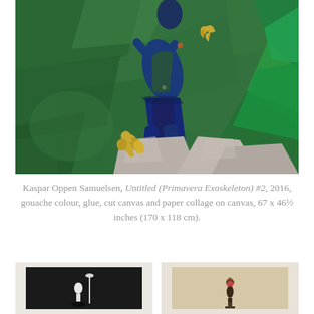[Figure (photo): Painting by Kaspar Oppen Samuelsen showing a blue figure with outstretched limbs against a green background, with golden organic shapes at the bottom and geometric green triangles on the right. The figure appears to be floating or falling, wearing blue garments. The background is a crinkled green surface.]
Kaspar Oppen Samuelsen, Untitled (Primavera Exoskeleton) #2, 2016, gouache colour, glue, cut canvas and paper collage on canvas, 67 x 46½ inches (170 x 118 cm).
[Figure (photo): Thumbnail of an artwork on dark/black background showing a small white figure with a tall vertical element, possibly a lamp or pole.]
[Figure (photo): Thumbnail of an artwork on beige/tan background showing a dark figure with what appears to be a floral or decorative element on top.]